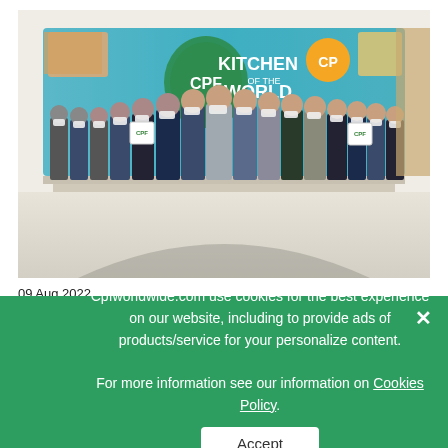[Figure (photo): Group photo of approximately 16 men wearing suits and face masks, standing in a lobby with CPF 'Kitchen of the World' branding on the wall behind them. Some individuals are holding small signs.]
09 Aug 2022
management
Tag:
#CPF #labor #worker
Cpfworldwide.com use cookies for the best experience on our website, including to provide ads of products/service for your personalize content.
For more information see our information on Cookies Policy.